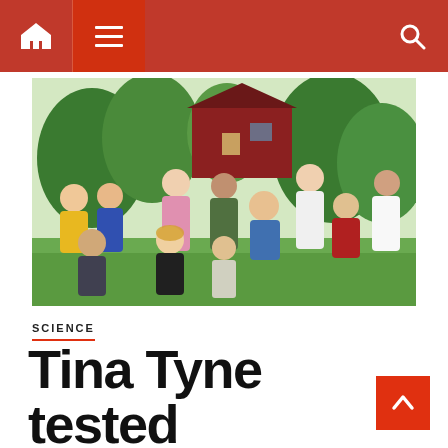Navigation bar with home, menu, and search icons
[Figure (photo): Group photo of approximately 12-13 people of diverse ages and styles posing outdoors in front of a red barn with green trees in the background. People are wearing colorful outfits including yellow, pink, green patterned, blue, white, and red clothing.]
SCIENCE
Tina Tyne tested positive